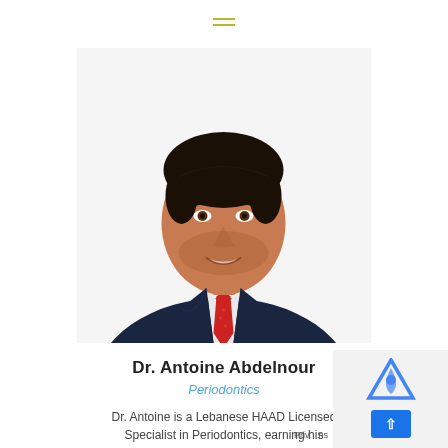[Figure (photo): Professional headshot of Dr. Antoine Abdelnour wearing a dark navy suit and red tie, against a white background]
Dr. Antoine Abdelnour
Periodontics
Dr. Antoine is a Lebanese HAAD Licensed Specialist in Periodontics, earning his